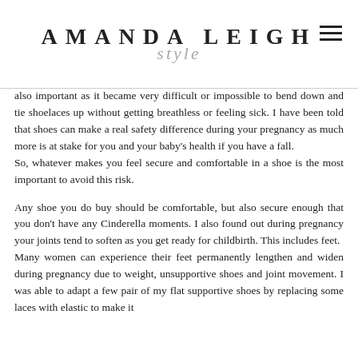AMANDA LEIGH style
also important as it became very difficult or impossible to bend down and tie shoelaces up without getting breathless or feeling sick. I have been told that shoes can make a real safety difference during your pregnancy as much more is at stake for you and your baby's health if you have a fall.
So, whatever makes you feel secure and comfortable in a shoe is the most important to avoid this risk.
Any shoe you do buy should be comfortable, but also secure enough that you don't have any Cinderella moments. I also found out during pregnancy your joints tend to soften as you get ready for childbirth. This includes feet.
Many women can experience their feet permanently lengthen and widen during pregnancy due to weight, unsupportive shoes and joint movement. I was able to adapt a few pair of my flat supportive shoes by replacing some laces with elastic to make it